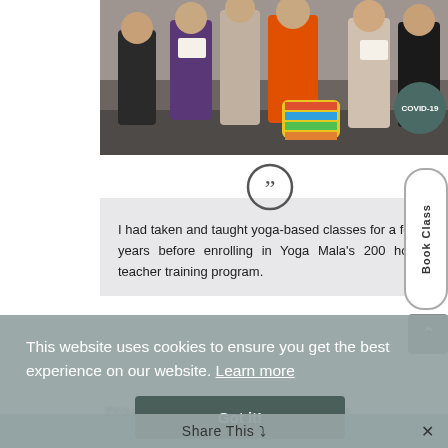[Figure (photo): Group photo of yoga teacher training graduates standing together, some holding certificates, with a colorful yoga mat bag visible in the center. Taken outdoors on a tiled surface.]
COVID-19
Book Class
[Figure (illustration): Closing quotation mark icon inside a circle]
I had taken and taught yoga-based classes for a few years before enrolling in Yoga Mala's 200 hour teacher training program.
through a lot of physical practice. However,
This website uses cookies to ensure you get the best experience on our website. Learn more
Got it!
Share This